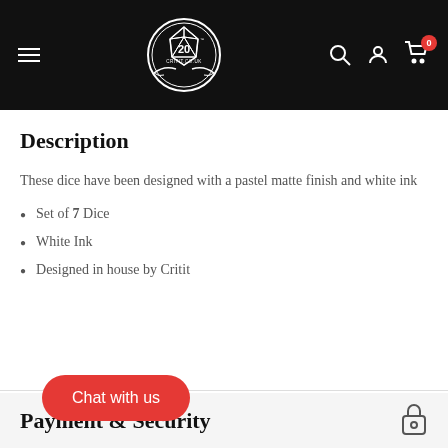[Figure (logo): Critit.co.uk website header with hamburger menu on left, circular dice logo in center (white on black, D20 with '20' and 'CRITIT.CO.UK' text), and search, account, cart icons on right. Cart shows badge with 0.]
Description
These dice have been designed with a pastel matte finish and white ink
Set of 7 Dice
White Ink
Designed in house by Critit
Payment & Security